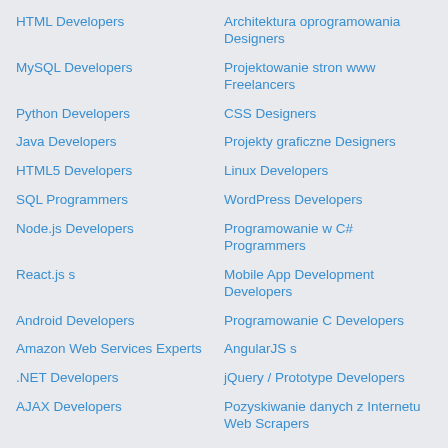HTML Developers
Architektura oprogramowania Designers
MySQL Developers
Projektowanie stron www Freelancers
Python Developers
CSS Designers
Java Developers
Projekty graficzne Designers
HTML5 Developers
Linux Developers
SQL Programmers
WordPress Developers
Node.js Developers
Programowanie w C# Programmers
React.js s
Mobile App Development Developers
Android Developers
Programowanie C Developers
Amazon Web Services Experts
AngularJS s
.NET Developers
jQuery / Prototype Developers
AJAX Developers
Pozyskiwanie danych z Internetu Web Scrapers